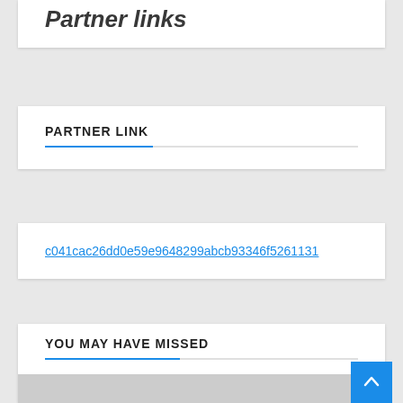Partner links
PARTNER LINK
c041cac26dd0e59e9648299abcb93346f5261131
YOU MAY HAVE MISSED
[Figure (other): Gray image placeholder below the YOU MAY HAVE MISSED section]